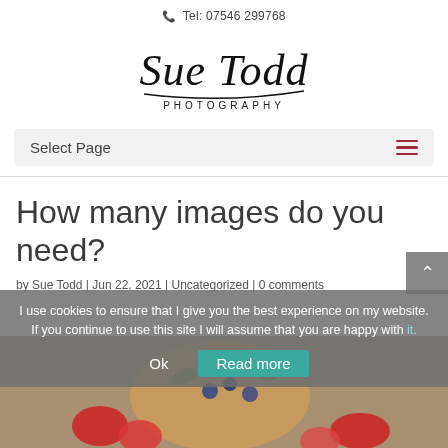Tel: 07546 299768
[Figure (logo): Sue Todd Photography handwritten script logo]
Select Page
How many images do you need?
by Sue Todd | Jun 22, 2021 | Uncategorized | 0 comments
I use cookies to ensure that I give you the best experience on my website. If you continue to use this site I will assume that you are happy with it.
[Figure (photo): Food photo with pizza, strawberries and blueberries — partially visible at bottom of page, overlaid by cookie consent banner]